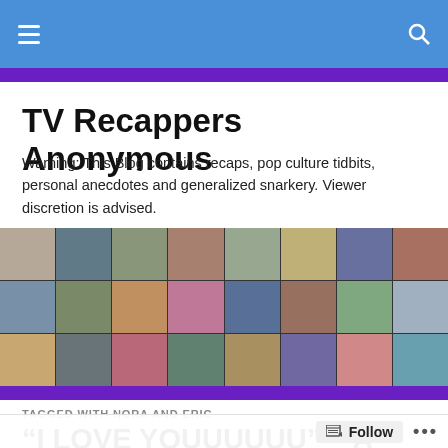TV Recappers Anonymous – navigation bar
TV Recappers Anonymous
Warning: This Blog contains recaps, pop culture tidbits, personal anecdotes and generalized snarkery. Viewer discretion is advised.
[Figure (photo): Collage of photographs of various male TV actors arranged in a grid]
TAGGED WITH NORA AND ERIC
“I LOVE YOUUUUUU” – A
Follow